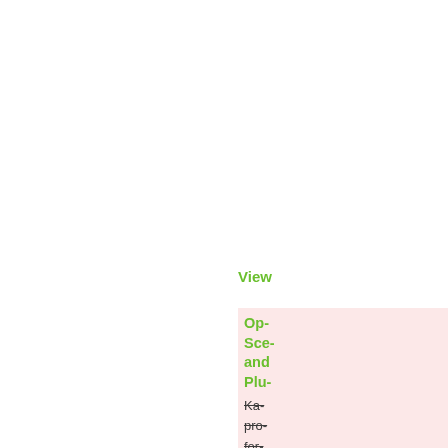View
Opening Scenes and Plug-ins
Katapult provides for plug-ins are types mo- con- nee-